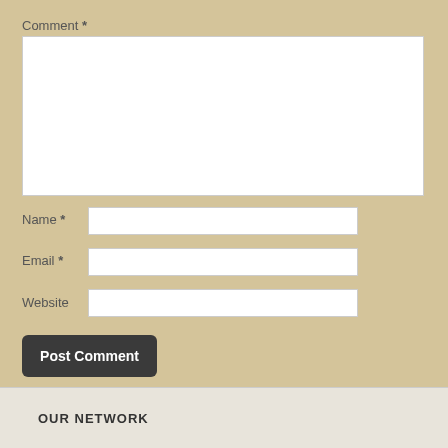Comment *
[Figure (screenshot): Comment text area input box, empty, white background with resize handle]
Name *
[Figure (screenshot): Name text input field, empty, white background]
Email *
[Figure (screenshot): Email text input field, empty, white background]
Website
[Figure (screenshot): Website text input field, empty, white background]
Post Comment
OUR NETWORK